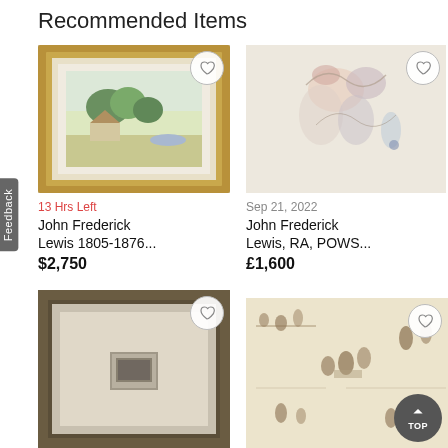Recommended Items
[Figure (photo): Framed watercolor landscape painting showing a cottage with trees, in a gold/brown frame. Heart/wishlist icon button in top-right corner.]
13 Hrs Left
John Frederick Lewis 1805-1876...
$2,750
[Figure (photo): Abstract or impressionist artwork showing loosely sketched figures in muted colors. Heart/wishlist icon button in top-right corner.]
Sep 21, 2022
John Frederick Lewis, RA, POWS...
£1,600
[Figure (photo): Ornate dark carved wooden frame with a small artwork inside, matted. Heart/wishlist icon button in top-right corner.]
[Figure (photo): Sepia-toned illustration with multiple figures in period costume, sketched scenes. Heart/wishlist icon button in top-right corner.]